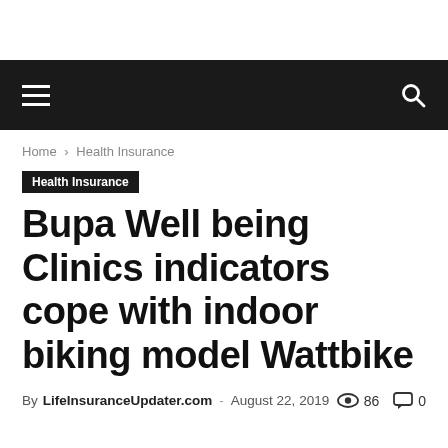≡  🔍
Home › Health Insurance
Health Insurance
Bupa Well being Clinics indicators cope with indoor biking model Wattbike
By LifeInsuranceUpdater.com - August 22, 2019  👁 86  💬 0